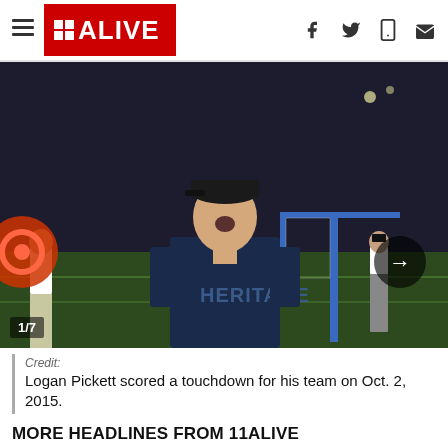11ALIVE
[Figure (photo): Young man wearing a Heritage jersey with mouth open, standing in front of a lacrosse goal on a sports field at night. Photo counter shows 1/7 with navigation arrow on the right.]
Credit:
Logan Pickett scored a touchdown for his team on Oct. 2, 2015.
MORE HEADLINES FROM 11ALIVE
Missing Clark Atlanta student Alexis Crawford found dead